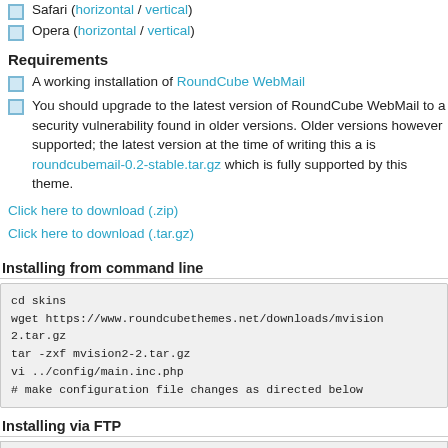Safari (horizontal / vertical)
Opera (horizontal / vertical)
Requirements
A working installation of RoundCube WebMail
You should upgrade to the latest version of RoundCube WebMail to a security vulnerability found in older versions. Older versions however supported; the latest version at the time of writing this a is roundcubemail-0.2-stable.tar.gz which is fully supported by this theme.
Click here to download (.zip)
Click here to download (.tar.gz)
Installing from command line
cd skins
wget https://www.roundcubethemes.net/downloads/mvision2.tar.gz
tar -zxf mvision2-2.tar.gz
vi ../config/main.inc.php
# make configuration file changes as directed below
Installing via FTP